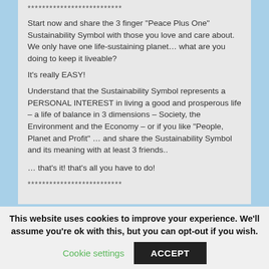**************************
Start now and share the 3 finger "Peace Plus One" Sustainability Symbol with those you love and care about. We only have one life-sustaining planet… what are you doing to keep it liveable?
It's really EASY!
Understand that the Sustainability Symbol represents a PERSONAL INTEREST in living a good and prosperous life – a life of balance in 3 dimensions – Society, the Environment and the Economy – or if you like "People, Planet and Profit" … and share the Sustainability Symbol and its meaning with at least 3 friends..
… that's it! that's all you have to do!
**************************
This website uses cookies to improve your experience. We'll assume you're ok with this, but you can opt-out if you wish.
Cookie settings | ACCEPT